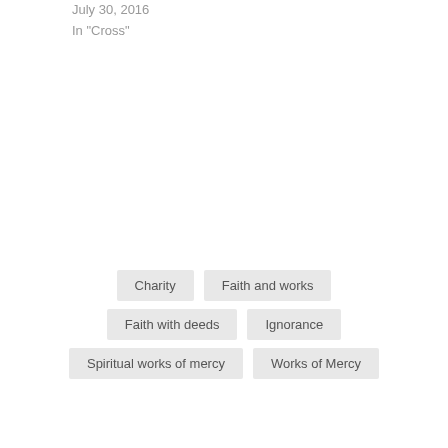July 30, 2016
In "Cross"
Charity
Faith and works
Faith with deeds
Ignorance
Spiritual works of mercy
Works of Mercy
[Figure (other): Horizontal divider line with green dot in center]
PREVIOUS POST
Advertisements
[Figure (other): Victoria's Secret advertisement banner with model photo, VS logo, SHOP THE COLLECTION text, and SHOP NOW button]